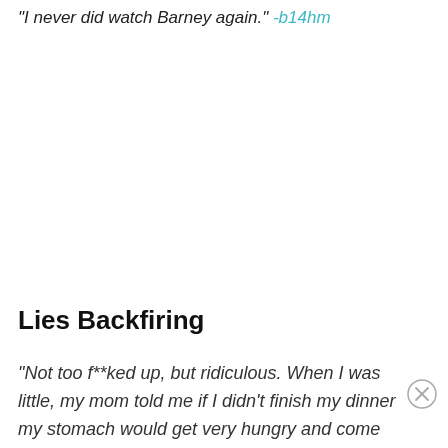"I never did watch Barney again." -b14hm
Lies Backfiring
"Not too f**ked up, but ridiculous. When I was little, my mom told me if I didn't finish my dinner my stomach would get very hungry and come